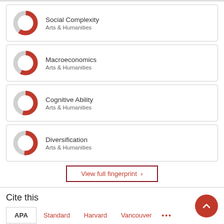Social Complexity – Arts & Humanities
Macroeconomics – Arts & Humanities
Cognitive Ability – Arts & Humanities
Diversification – Arts & Humanities
View full fingerprint >
Cite this
APA   Standard   Harvard   Vancouver   ...